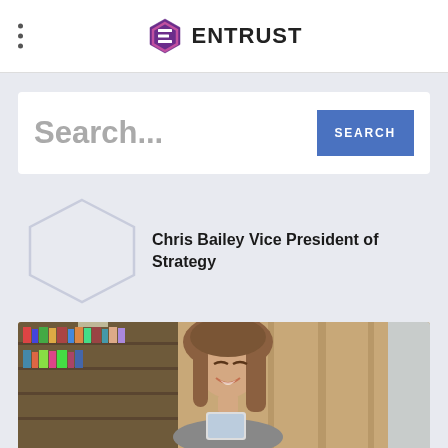ENTRUST
Search...
SEARCH
Chris Bailey Vice President of Strategy
[Figure (photo): Young woman smiling, looking down at a device, in a library or bookstore setting with wooden shelving and blurred bookshelf in background]